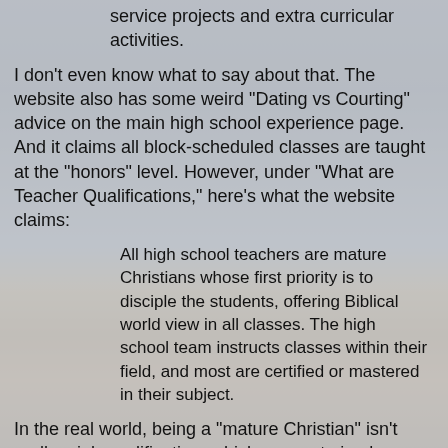service projects and extra curricular activities.
I don't even know what to say about that. The website also has some weird "Dating vs Courting" advice on the main high school experience page. And it claims all block-scheduled classes are taught at the "honors" level. However, under "What are Teacher Qualifications," here's what the website claims:
All high school teachers are mature Christians whose first priority is to disciple the students, offering Biblical world view in all classes. The high school team instructs classes within their field, and most are certified or mastered in their subject.
In the real world, being a "mature Christian" isn't really a job qualification, which seems to imply Harvest isn't exactly operating in the real world. I suppose that's fine for mature Christian business owners who want their kids to take over the family business after high school, but my family business